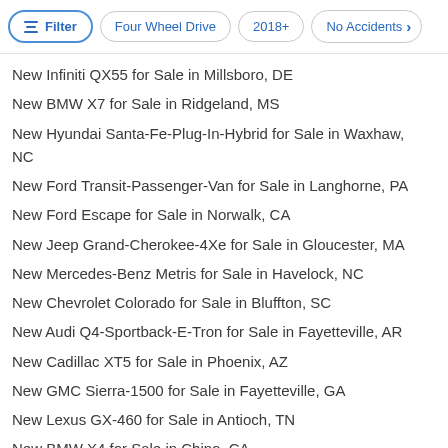Filter | Four Wheel Drive | 2018+ | No Accidents
New Infiniti QX55 for Sale in Millsboro, DE
New BMW X7 for Sale in Ridgeland, MS
New Hyundai Santa-Fe-Plug-In-Hybrid for Sale in Waxhaw, NC
New Ford Transit-Passenger-Van for Sale in Langhorne, PA
New Ford Escape for Sale in Norwalk, CA
New Jeep Grand-Cherokee-4Xe for Sale in Gloucester, MA
New Mercedes-Benz Metris for Sale in Havelock, NC
New Chevrolet Colorado for Sale in Bluffton, SC
New Audi Q4-Sportback-E-Tron for Sale in Fayetteville, AR
New Cadillac XT5 for Sale in Phoenix, AZ
New GMC Sierra-1500 for Sale in Fayetteville, GA
New Lexus GX-460 for Sale in Antioch, TN
New BMW X4 for Sale in Chino, CA
New Hyundai Tucson-Plug-In-Hybrid for Sale in Ringgold, GA